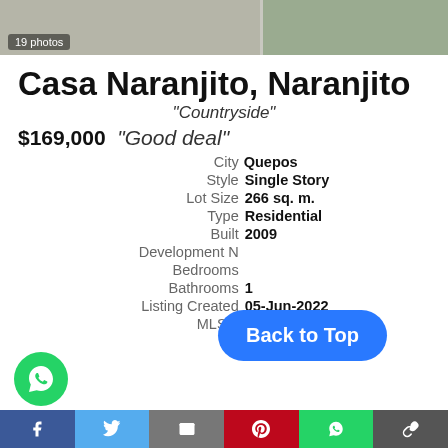[Figure (photo): Property photo strip showing exterior with gravel and plants, 19 photos label]
Casa Naranjito, Naranjito
"Countryside"
$169,000  "Good deal"
| Field | Value |
| --- | --- |
| City | Quepos |
| Style | Single Story |
| Lot Size | 266 sq. m. |
| Type | Residential |
| Built | 2009 |
| Development N |  |
| Bedrooms |  |
| Bathrooms | 1 |
| Listing Created | 05-Jun-2022 |
| MLS#: | CM#22 |
Back to Top